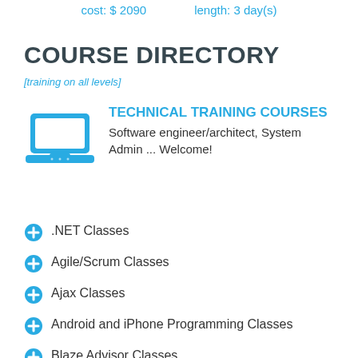cost: $ 2090    length: 3 day(s)
COURSE DIRECTORY
[training on all levels]
[Figure (illustration): Cyan laptop/monitor icon]
TECHNICAL TRAINING COURSES
Software engineer/architect, System Admin ... Welcome!
.NET Classes
Agile/Scrum Classes
Ajax Classes
Android and iPhone Programming Classes
Blaze Advisor Classes
C Programming Classes